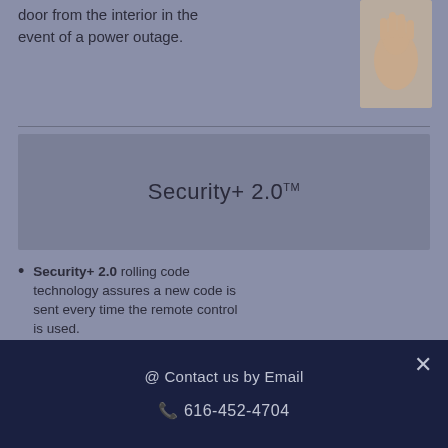door from the interior in the event of a power outage.
[Figure (photo): Hand/fist image on grey background]
Security+ 2.0™
Security+ 2.0 rolling code technology assures a new code is sent every time the remote control is used.
Patented PosiLock® system ensures the door
[Figure (logo): Security+ 2.0 logo in dark italic text with orange plus sign]
@ Contact us by Email
616-452-4704